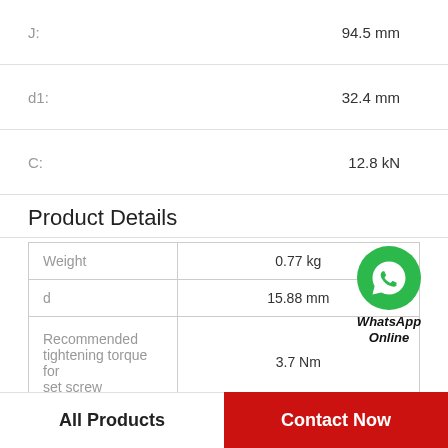| Parameter | Value |
| --- | --- |
| J: | 94.5 mm |
| d1: | 32.4 mm |
| C: | 12.8 kN |
Product Details
| Property | Value |
| --- | --- |
| Weight | 0.77 kg |
| d | 15.88 mm |
| Recommended tightening torque for set screw | 3.7 Nm |
WhatsApp Online
All Products
Contact Now